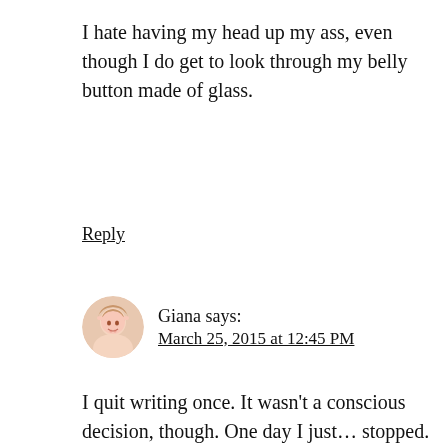I hate having my head up my ass, even though I do get to look through my belly button made of glass.
Reply
Giana says: March 25, 2015 at 12:45 PM
I quit writing once. It wasn't a conscious decision, though. One day I just… stopped. I think I spent a year and a half without putting words to paper, and the loss never really struck me… until I came back and realized the pain of not writing was there all along. I was just that good at ignoring it.